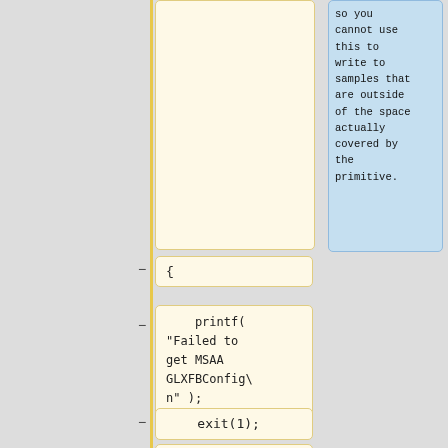so you cannot use this to write to samples that are outside of the space actually covered by the primitive.
{
printf( "Failed to get MSAA GLXFBConfig\n" );
exit(1);